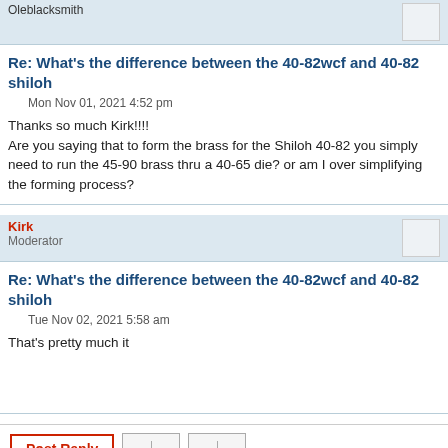Oleblacksmith
Re: What's the difference between the 40-82wcf and 40-82 shiloh
Mon Nov 01, 2021 4:52 pm
Thanks so much Kirk!!!!
Are you saying that to form the brass for the Shiloh 40-82 you simply need to run the 45-90 brass thru a 40-65 die? or am I over simplifying the forming process?
Kirk
Moderator
Re: What's the difference between the 40-82wcf and 40-82 shiloh
Tue Nov 02, 2021 5:58 am
That's pretty much it
5 posts • Page 1 of 1